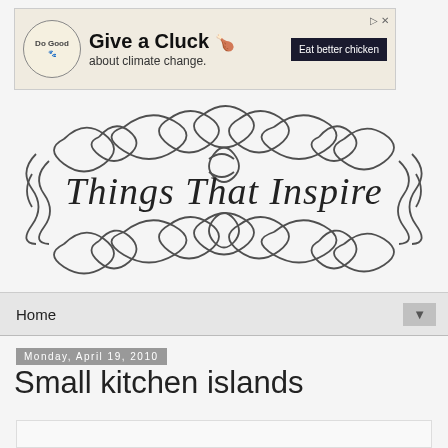[Figure (screenshot): Advertisement banner: 'Give a Cluck about climate change. Eat better chicken.' with Do Good logo and chicken icon]
[Figure (logo): Blog logo: decorative calligraphic frame with scrollwork border containing cursive text 'Things That Inspire']
Home
Monday, April 19, 2010
Small kitchen islands